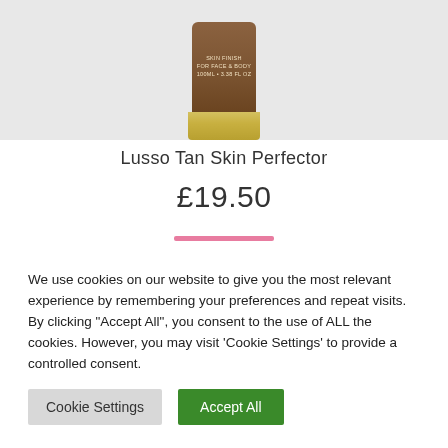[Figure (photo): Product photo of a Lusso Tan Skin Finish bottle with a brown/dark bottle top and gold cap, set against a light grey background]
Lusso Tan Skin Perfector
£19.50
We use cookies on our website to give you the most relevant experience by remembering your preferences and repeat visits. By clicking "Accept All", you consent to the use of ALL the cookies. However, you may visit 'Cookie Settings' to provide a controlled consent.